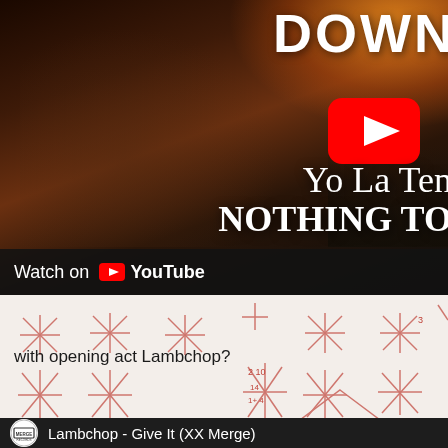[Figure (screenshot): YouTube video thumbnail showing a guitarist performing outdoors at sunset with city skyline. White bold text 'DOWN' visible at top right, artist name 'Yo La Ten' (truncated) and 'NOTHING TO' (truncated) in white serif text. Red YouTube play button icon. Bottom bar reads 'Watch on YouTube'.]
[Figure (photo): White/cream background with red hand-drawn asterisk/star doodles sketched repeatedly across the area. Text overlay reads 'with opening act Lambchop?']
with opening act Lambchop?
[Figure (screenshot): Dark video thumbnail strip showing Merge Records circular logo on left and text 'Lambchop - Give It (XX Merge)']